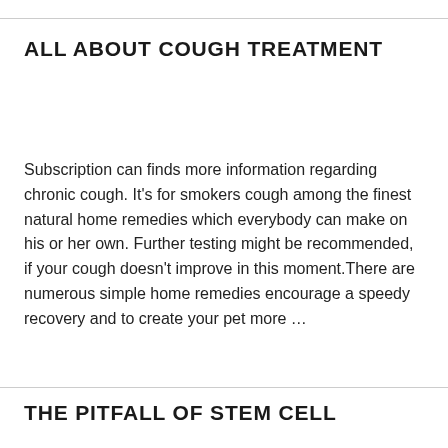ALL ABOUT COUGH TREATMENT
Subscription can finds more information regarding chronic cough. It’s for smokers cough among the finest natural home remedies which everybody can make on his or her own. Further testing might be recommended, if your cough doesn’t improve in this moment.There are numerous simple home remedies encourage a speedy recovery and to create your pet more …
THE PITFALL OF STEM CELL